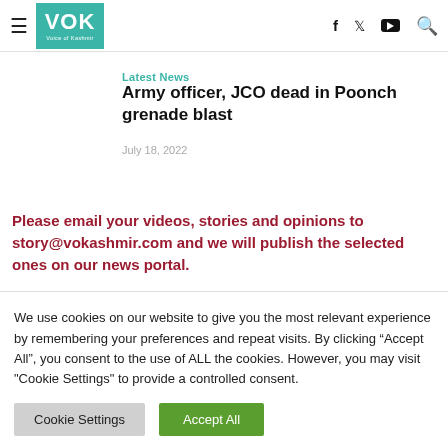VOK Voice of Kashmir — navigation header with hamburger, logo, and social icons (f, twitter, youtube, search)
Latest News
Army officer, JCO dead in Poonch grenade blast
July 18, 2022
Please email your videos, stories and opinions to story@vokashmir.com and we will publish the selected ones on our news portal.
We use cookies on our website to give you the most relevant experience by remembering your preferences and repeat visits. By clicking "Accept All", you consent to the use of ALL the cookies. However, you may visit "Cookie Settings" to provide a controlled consent.